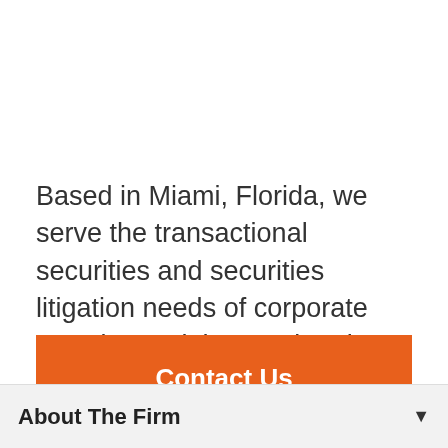Based in Miami, Florida, we serve the transactional securities and securities litigation needs of corporate America and the regulated securities industry.
Contact Us
About The Firm